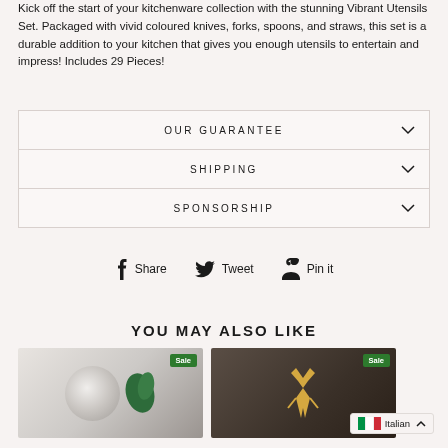Kick off the start of your kitchenware collection with the stunning Vibrant Utensils Set. Packaged with vivid coloured knives, forks, spoons, and straws, this set is a durable addition to your kitchen that gives you enough utensils to entertain and impress! Includes 29 Pieces!
OUR GUARANTEE
SHIPPING
SPONSORSHIP
Share  Tweet  Pin it
YOU MAY ALSO LIKE
[Figure (photo): Two product cards side by side both labeled Sale - left card shows marble plates with a monstera leaf, right card shows a gold deer figurine on dark background]
Italian